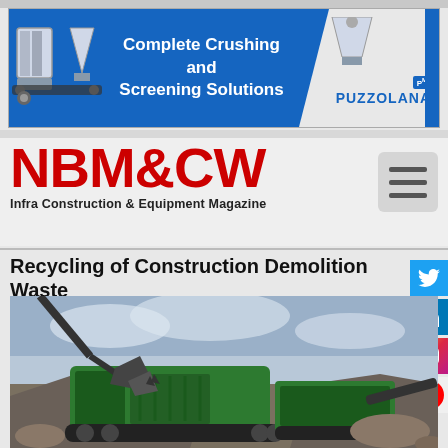[Figure (infographic): Puzzolana advertisement banner: blue background with crusher machine images on left, center text 'Complete Crushing and Screening Solutions', and Puzzolana logo on the right]
NBM&CW Infra Construction & Equipment Magazine
Recycling of Construction Demolition Waste
[Figure (photo): A green mobile jaw crusher/screener machine on a construction demolition waste recycling site, with an excavator bucket visible at the top, cloudy sky background and rubble/gravel piles around]